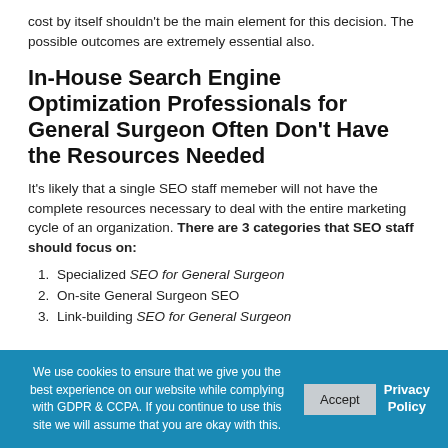cost by itself shouldn't be the main element for this decision. The possible outcomes are extremely essential also.
In-House Search Engine Optimization Professionals for General Surgeon Often Don't Have the Resources Needed
It's likely that a single SEO staff memeber will not have the complete resources necessary to deal with the entire marketing cycle of an organization. There are 3 categories that SEO staff should focus on:
1. Specialized SEO for General Surgeon
2. On-site General Surgeon SEO
3. Link-building SEO for General Surgeon
We use cookies to ensure that we give you the best experience on our website while complying with GDPR & CCPA. If you continue to use this site we will assume that you are okay with this. Accept Privacy Policy